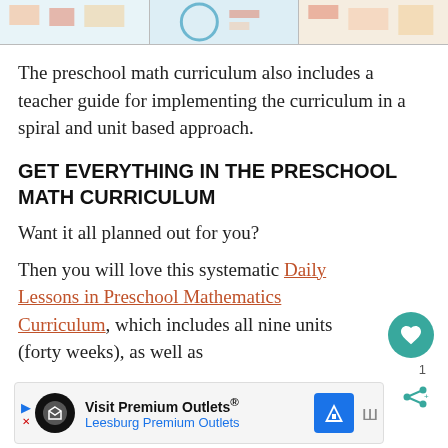[Figure (illustration): Top strip showing three worksheet/curriculum page thumbnails with colorful math content]
The preschool math curriculum also includes a teacher guide for implementing the curriculum in a spiral and unit based approach.
GET EVERYTHING IN THE PRESCHOOL MATH CURRICULUM
Want it all planned out for you?
Then you will love this systematic Daily Lessons in Preschool Mathematics Curriculum, which includes all nine units (forty weeks), as well as
[Figure (other): Advertisement banner: Visit Premium Outlets® - Leesburg Premium Outlets, with logo and road sign icon]